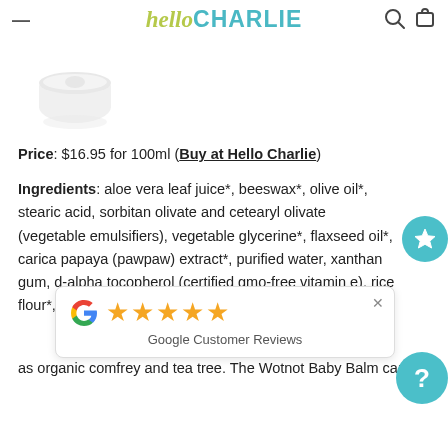helloCHARLIE
[Figure (photo): White cream/balm jar product photo]
Price: $16.95 for 100ml (Buy at Hello Charlie)
Ingredients: aloe vera leaf juice*, beeswax*, olive oil*, stearic acid, sorbitan olivate and cetearyl olivate (vegetable emulsifiers), vegetable glycerine*, flaxseed oil*, carica papaya (pawpaw) extract*, purified water, xanthan gum, d-alpha tocopherol (certified gmo-free vitamin e), rice flour*, chamomile oil*, tea tree oil*, comfrey oil*, potassium ...certified organic ...pawpaw extra... as organic comfrey and tea tree. The Wotnot Baby Balm can
[Figure (screenshot): Google Customer Reviews popup with 5 gold stars]